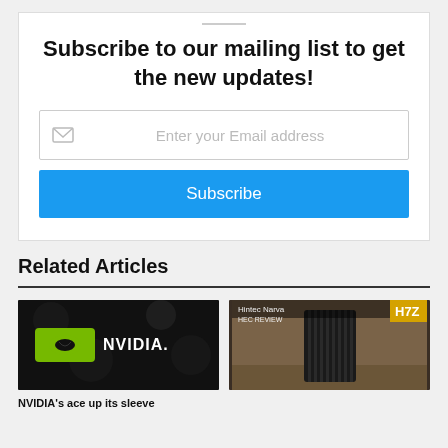Subscribe to our mailing list to get the new updates!
Enter your Email address
Subscribe
Related Articles
[Figure (photo): NVIDIA logo on dark background]
NVIDIA's ace up its sleeve
[Figure (photo): PC case review image with Hintec Narva HEC REVIEW label and H7Z branding, showing a black ribbed PC tower case]